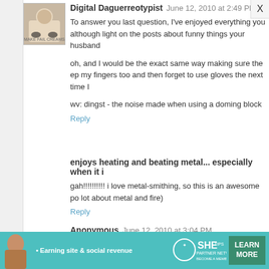Digital Daguerreotypist June 12, 2010 at 2:49 PM
To answer you last question, I've enjoyed everything you although light on the posts about funny things your husband

oh, and I would be the exact same way making sure the ep my fingers too and then forget to use gloves the next time I

wv: dingst - the noise made when using a doming block

Reply
enjoys heating and beating metal... especially when it i
gah!!!!!!!!!! i love metal-smithing, so this is an awesome po lot about metal and fire)

Reply
Anonymous June 12, 2010 at 3:04 PM
I absolutely love your tutorials. I am not crafty at all and you Cyndi :)

Reply
[Figure (infographic): SHE Partner Network advertisement banner: Earning site & social revenue, Learn More button]